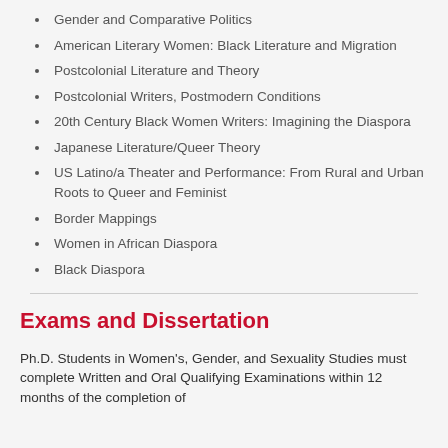Gender and Comparative Politics
American Literary Women: Black Literature and Migration
Postcolonial Literature and Theory
Postcolonial Writers, Postmodern Conditions
20th Century Black Women Writers: Imagining the Diaspora
Japanese Literature/Queer Theory
US Latino/a Theater and Performance: From Rural and Urban Roots to Queer and Feminist
Border Mappings
Women in African Diaspora
Black Diaspora
Exams and Dissertation
Ph.D. Students in Women's, Gender, and Sexuality Studies must complete Written and Oral Qualifying Examinations within 12 months of the completion of